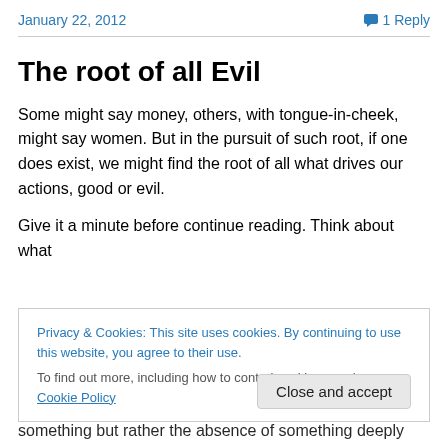January 22, 2012   1 Reply
The root of all Evil
Some might say money, others, with tongue-in-cheek, might say women. But in the pursuit of such root, if one does exist, we might find the root of all what drives our actions, good or evil.
Give it a minute before continue reading. Think about what
Privacy & Cookies: This site uses cookies. By continuing to use this website, you agree to their use.
To find out more, including how to control cookies, see here: Cookie Policy
something but rather the absence of something deeply